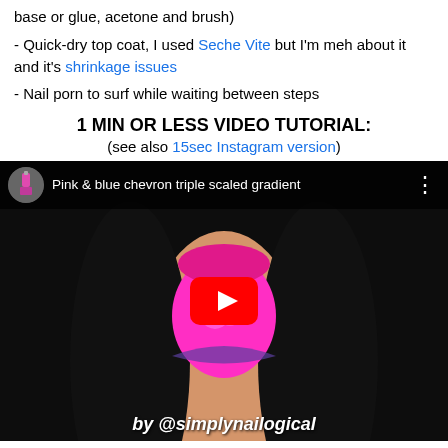base or glue, acetone and brush)
- Quick-dry top coat, I used Seche Vite but I'm meh about it and it's shrinkage issues
- Nail porn to surf while waiting between steps
1 MIN OR LESS VIDEO TUTORIAL:
(see also 15sec Instagram version)
[Figure (screenshot): YouTube video thumbnail showing close-up of a pink nail with chevron gradient design. Title reads 'Pink & blue chevron triple scaled gradient'. Watermark at bottom: 'by @simplynailogical'. Red YouTube play button in center.]